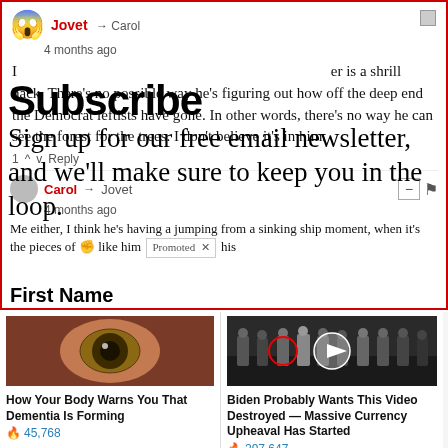[Figure (screenshot): Social media comment thread with overlay showing email newsletter subscription prompt and two advertisement cards below (eye image and group photo).]
Jovet → Carol
4 months ago
I [comment text overlaid by subscribe prompt] is a shrill hack. There's no possible way he's figuring out how off the deep end the Democrat leftists have gone. In other words, there's no way he can see the forest for the trees. I don't believe it's in him.
Subscribe
Sign up for our free email newsletter, and we'll make sure to keep you in the loop.
First Name
Carol → Jovet
4 months ago
Me either, I think he's having a jumping from a sinking ship moment, when it's the pieces of ✊ like him [Promoted ×] his
How Your Body Warns You That Dementia Is Forming
🔥 45,768
Biden Probably Wants This Video Destroyed — Massive Currency Upheaval Has Started
🔥 297,647